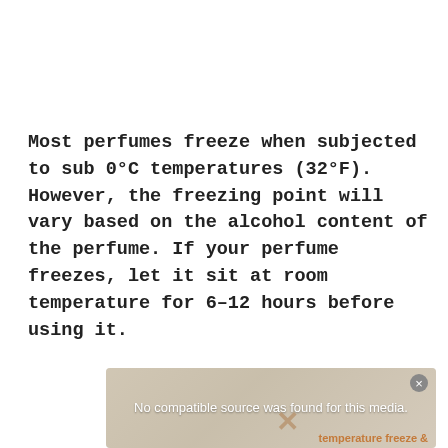Most perfumes freeze when subjected to sub 0°C temperatures (32°F). However, the freezing point will vary based on the alcohol content of the perfume. If your perfume freezes, let it sit at room temperature for 6–12 hours before using it.
[Figure (other): A video/media placeholder box with a gray background showing the message 'No compatible source was found for this media.' with a close button and partially visible background image with orange text.]